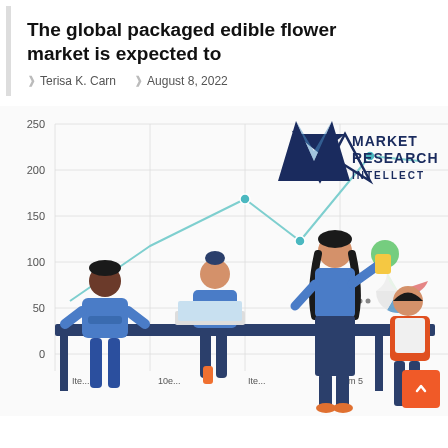The global packaged edible flower market is expected to
Terisa K. Carn   August 8, 2022
[Figure (illustration): Market Research Intellect branded illustration showing a line chart with y-axis values 0, 50, 100, 150, 200, 250 and x-axis items (Item 1, Item 2, Item 3, Item 4, Item 5), overlaid with a flat-style illustration of business people working around a table, a pie chart partial in corner, and the Market Research Intellect logo with M letter mark in dark blue.]